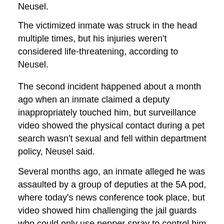Neusel.
The victimized inmate was struck in the head multiple times, but his injuries weren't considered life-threatening, according to Neusel.
The second incident happened about a month ago when an inmate claimed a deputy inappropriately touched him, but surveillance video showed the physical contact during a pet search wasn't sexual and fell within department policy, Neusel said.
Several months ago, an inmate alleged he was assaulted by a group of deputies at the 5A pod, where today's news conference took place, but video showed him challenging the jail guards who could only use pepper spray to control him, according to Neusel.